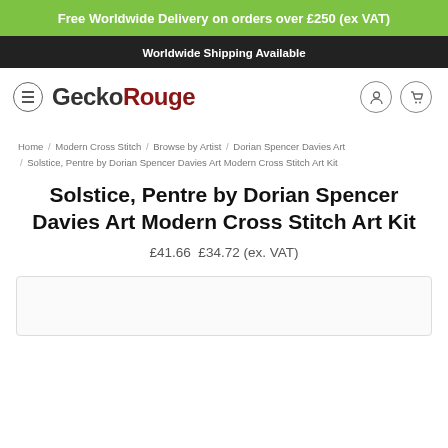Free Worldwide Delivery on orders over £250 (ex VAT)
Worldwide Shipping Available
[Figure (logo): GeckoRouge logo with hamburger menu icon on left and user/cart icons on right]
Home / Modern Cross Stitch / Browse by Artist / Dorian Spencer Davies Art / Solstice, Pentre by Dorian Spencer Davies Art Modern Cross Stitch Art Kit
Solstice, Pentre by Dorian Spencer Davies Art Modern Cross Stitch Art Kit
£41.66  £34.72 (ex. VAT)
[Figure (photo): Product image area (partially visible, empty white box with border)]